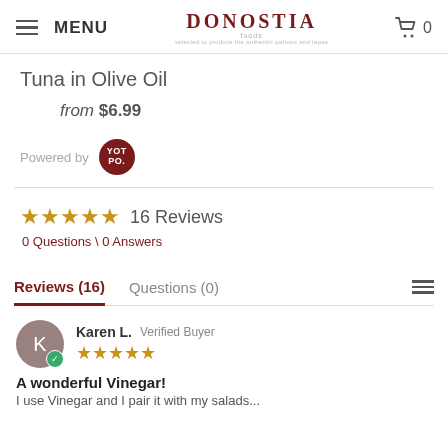MENU | DONOSTIA FOODS | 0
Tuna in Olive Oil
from $6.99
Powered by YOTPO
★★★★★ 16 Reviews
0 Questions \ 0 Answers
Reviews (16)    Questions (0)
Karen L.  Verified Buyer  ★★★★★  A wonderful Vinegar!